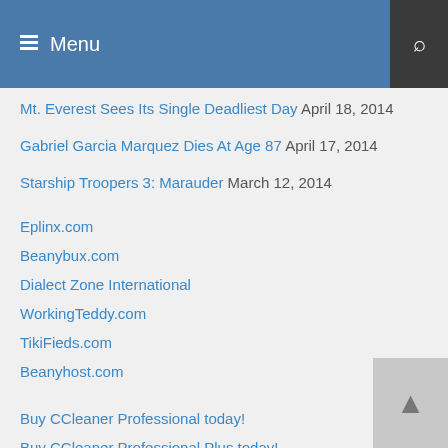Menu
Mt. Everest Sees Its Single Deadliest Day April 18, 2014
Gabriel Garcia Marquez Dies At Age 87 April 17, 2014
Starship Troopers 3: Marauder March 12, 2014
Eplinx.com
Beanybux.com
Dialect Zone International
WorkingTeddy.com
TikiFieds.com
Beanyhost.com
Buy CCleaner Professional today!
Buy CCleaner Professional Plus today!
Buy CCleaner for your Mac today!
Buy CCleaner for your Business today!
Buy CCleaner for your Business today!
Buy CCleaner for your Business today!